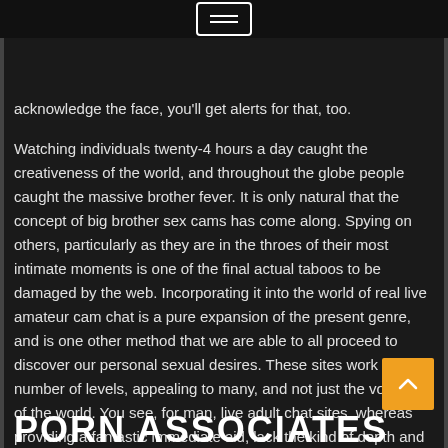≡
acknowledge the face, you'll get alerts for that, too.
Watching individuals twenty-4 hours a day caught the creativeness of the world, and throughout the globe people caught the massive brother fever. It is only natural that the concept of big brother sex cams has come along. Spying on others, particularly as they are in the throes of their most intimate moments is one of the final actual taboos to be damaged by the web. Incorporating it into the world of real live amateur cam chat is a pure expansion of the present genre, and is one other method that we are able to all proceed to discover our personal sexual desires. These sites work on a number of levels, appealing to many, and not just the voyeurs of the world. You see, for man, live adult chat sites, whereas providing a fantastic immediate aid, lack the kind of depth and detail that many people actually needs.
PORN ASSOCIATES